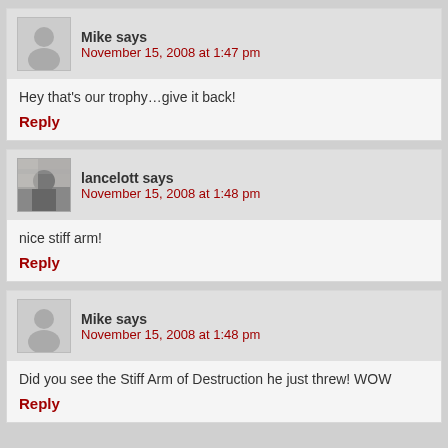Mike says
November 15, 2008 at 1:47 pm
Hey that’s our trophy…give it back!
Reply
lancelott says
November 15, 2008 at 1:48 pm
nice stiff arm!
Reply
Mike says
November 15, 2008 at 1:48 pm
Did you see the Stiff Arm of Destruction he just threw! WOW
Reply